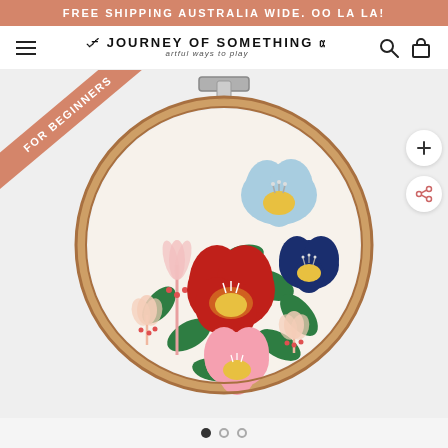FREE SHIPPING AUSTRALIA WIDE. OO LA LA!
JOURNEY OF SOMETHING
artful ways to play
[Figure (photo): An embroidery hoop with colorful floral needle-punch embroidery showing red, blue, pink flowers and green leaves on cream fabric. A 'FOR BEGINNERS' ribbon badge is shown in the top-left corner.]